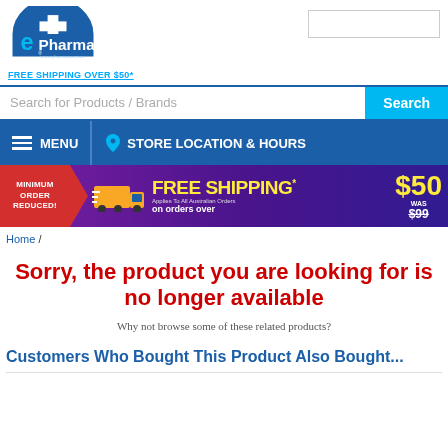[Figure (logo): ePharmacy logo with blue circle and cross, www.epharmacy.com.au]
FREE SHIPPING OVER $50*
Search for Products / Brands
Search
MENU
STORE LOCATION & HOURS
[Figure (infographic): Purple promotional banner: MINIMUM ORDER REDUCED! FREE SHIPPING* on orders over $50 WAS $99 with truck graphic]
Home /
Sorry, the product you are looking for is no longer available
Why not browse some of these related products?
Customers Who Bought This Product Also Bought...